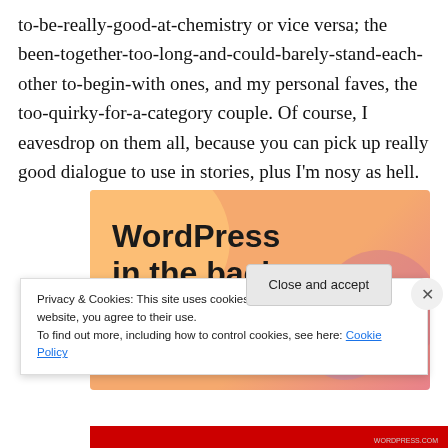to-be-really-good-at-chemistry or vice versa; the been-together-too-long-and-could-barely-stand-each-other to-begin-with ones, and my personal faves, the too-quirky-for-a-category couple. Of course, I eavesdrop on them all, because you can pick up really good dialogue to use in stories, plus I'm nosy as hell.
[Figure (illustration): WordPress 'in the back.' promotional banner with orange and pink gradient background and circular decorative shapes]
Privacy & Cookies: This site uses cookies. By continuing to use this website, you agree to their use.
To find out more, including how to control cookies, see here: Cookie Policy
Close and accept